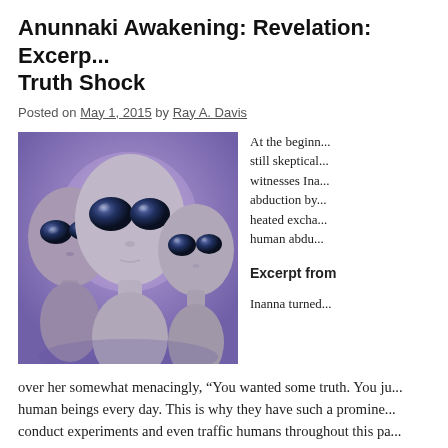Anunnaki Awakening: Revelation: Excerp... Truth Shock
Posted on May 1, 2015 by Ray A. Davis
[Figure (photo): Three grey alien figures with large black eyes against a purple background]
At the beginn... still skeptical... witnesses Ina... abduction by... heated excha... human abdu...
Excerpt from
Inanna turned over her somewhat menacingly, “You wanted some truth. You ju... human beings every day. This is why they have such a promine... conduct experiments and even traffic humans throughout this pa... makes quite good servants. I’ve made it part of my personal mis... I can.”